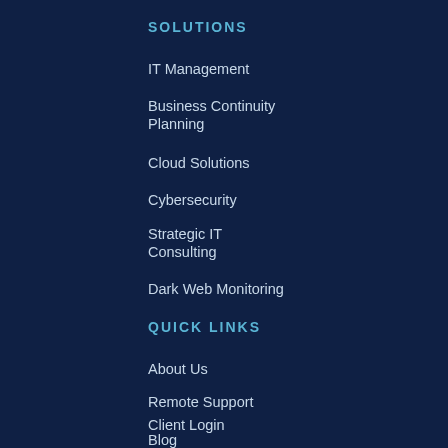SOLUTIONS
IT Management
Business Continuity Planning
Cloud Solutions
Cybersecurity
Strategic IT Consulting
Dark Web Monitoring
QUICK LINKS
About Us
Remote Support
Client Login
Blog